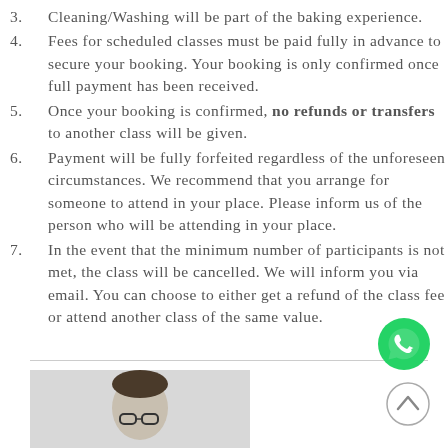Cleaning/Washing will be part of the baking experience.
Fees for scheduled classes must be paid fully in advance to secure your booking. Your booking is only confirmed once full payment has been received.
Once your booking is confirmed, no refunds or transfers to another class will be given.
Payment will be fully forfeited regardless of the unforeseen circumstances. We recommend that you arrange for someone to attend in your place. Please inform us of the person who will be attending in your place.
In the event that the minimum number of participants is not met, the class will be cancelled. We will inform you via email. You can choose to either get a refund of the class fee or attend another class of the same value.
[Figure (illustration): WhatsApp contact button (green circle with phone/chat icon)]
[Figure (illustration): Scroll-to-top button (circle with upward chevron arrow)]
[Figure (photo): Partial photo of a person wearing glasses, cropped at bottom of page]